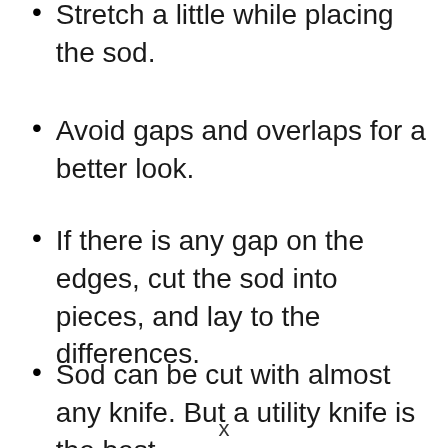Stretch a little while placing the sod.
Avoid gaps and overlaps for a better look.
If there is any gap on the edges, cut the sod into pieces, and lay to the differences.
Sod can be cut with almost any knife. But a utility knife is the best.
x